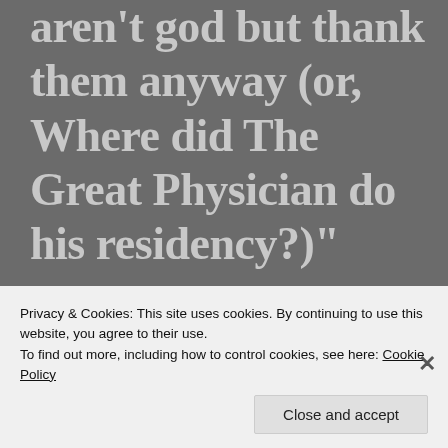aren’t god but thank them anyway (or, Where did The Great Physician do his residency?)”
[Figure (illustration): Circular avatar image showing a purple and white illustrated figure resembling a brain or flower, used as an author profile photo]
Birdie
Privacy & Cookies: This site uses cookies. By continuing to use this website, you agree to their use.
To find out more, including how to control cookies, see here: Cookie Policy
Close and accept